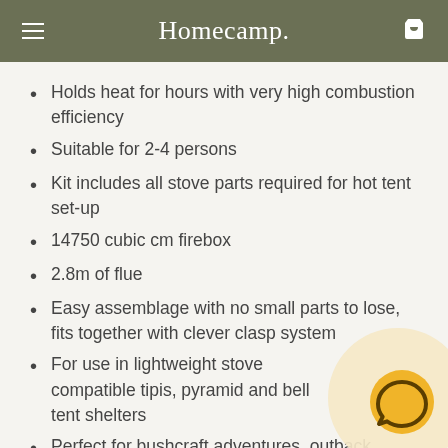Homecamp.
Holds heat for hours with very high combustion efficiency
Suitable for 2-4 persons
Kit includes all stove parts required for hot tent set-up
14750 cubic cm firebox
2.8m of flue
Easy assemblage with no small parts to lose, fits together with clever clasp system
For use in lightweight stove compatible tipis, pyramid and bell tent shelters
Perfect for bushcraft adventures, outback